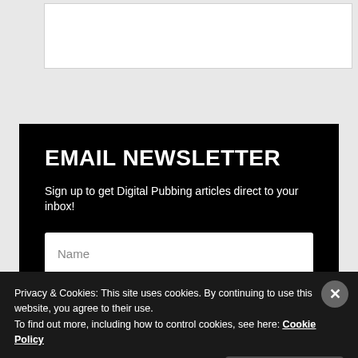[Figure (screenshot): Top gray area with a white content card/image placeholder]
EMAIL NEWSLETTER
Sign up to get Digital Pubbing articles direct to your inbox!
[Figure (screenshot): Name input field (white text box with placeholder text 'Name')]
[Figure (screenshot): Email input field (partially visible white text box)]
Privacy & Cookies: This site uses cookies. By continuing to use this website, you agree to their use.
To find out more, including how to control cookies, see here: Cookie Policy
Close and accept